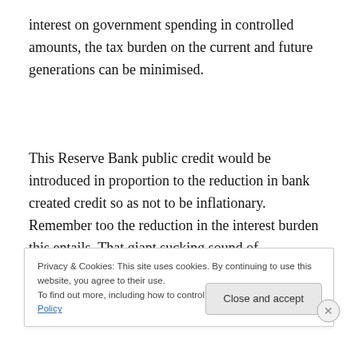interest on government spending in controlled amounts, the tax burden on the current and future generations can be minimised.
This Reserve Bank public credit would be introduced in proportion to the reduction in bank created credit so as not to be inflationary. Remember too the reduction in the interest burden this entails. That giant sucking sound of
Privacy & Cookies: This site uses cookies. By continuing to use this website, you agree to their use.
To find out more, including how to control cookies, see here: Cookie Policy